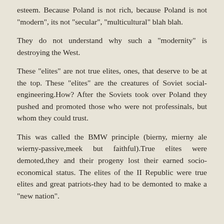esteem. Because Poland is not rich, because Poland is not "modern", its not "secular", "multicultural" blah blah.
They do not understand why such a "modernity" is destroying the West.
These "elites" are not true elites, ones, that deserve to be at the top. These "elites" are the creatures of Soviet social-engineering.How? After the Soviets took over Poland they pushed and promoted those who were not professinals, but whom they could trust.
This was called the BMW principle (bierny, mierny ale wierny-passive,meek but faithful).True elites were demoted,they and their progeny lost their earned socio-economical status. The elites of the II Republic were true elites and great patriots-they had to be demonted to make a "new nation".